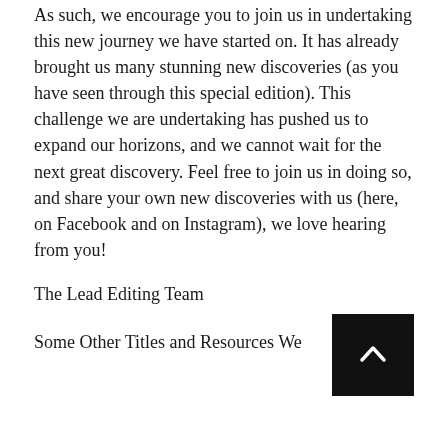As such, we encourage you to join us in undertaking this new journey we have started on. It has already brought us many stunning new discoveries (as you have seen through this special edition). This challenge we are undertaking has pushed us to expand our horizons, and we cannot wait for the next great discovery. Feel free to join us in doing so, and share your own new discoveries with us (here, on Facebook and on Instagram), we love hearing from you!
The Lead Editing Team
[Figure (other): Black square button with a white upward-pointing chevron arrow, used as a scroll-to-top navigation element]
Some Other Titles and Resources We